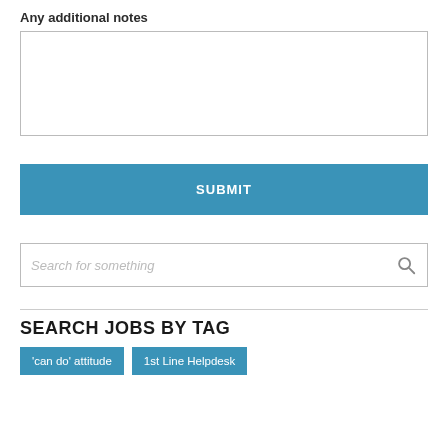Any additional notes
[Figure (other): Empty textarea input box for additional notes]
[Figure (other): Blue SUBMIT button]
[Figure (other): Search box with placeholder text 'Search for something' and a magnifying glass icon]
SEARCH JOBS BY TAG
'can do' attitude
1st Line Helpdesk